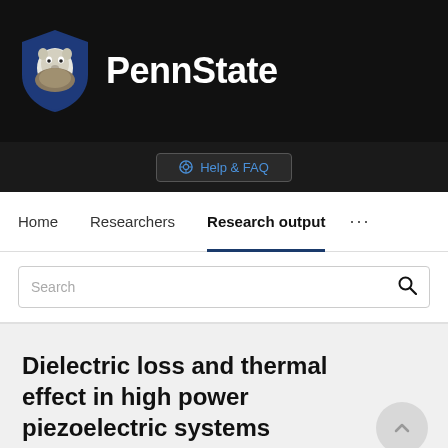[Figure (logo): Penn State University logo with lion mascot shield and 'PennState' text on dark background]
Help & FAQ
Home   Researchers   Research output   ...
Search
Dielectric loss and thermal effect in high power piezoelectric systems